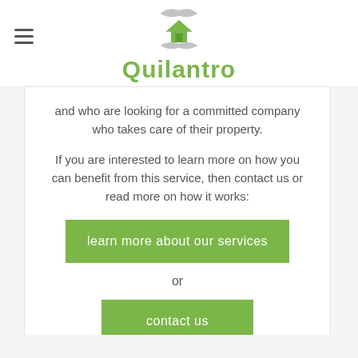Quilantro
and who are looking for a committed company who takes care of their property.
If you are interested to learn more on how you can benefit from this service, then contact us or read more on how it works:
learn more about our services
or
contact us